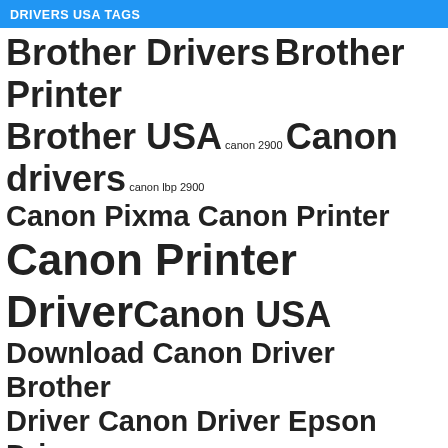DRIVERS USA TAGS
Brother Drivers Brother Printer Brother USA canon 2900 Canon drivers canon lbp 2900 Canon Pixma Canon Printer Canon Printer Driver Canon USA Download Canon Driver Brother Driver Canon Driver Epson Driver Windows 10 Epson All in One Epson Artisan Series Epson Drivers Epson Printer Epson Small-in-One driver Epson Stylus Series Epson USA Epson WorkForce Series Laser Printers Samsung Black and White Printer Samsung Color Laser Printer Samsung Color Multifunction Samsung Drivers Samsung Mono Laser MFP Printer Samsung Mono Laser Printer Samsung Printer Samsung USA Show all Samsung printer